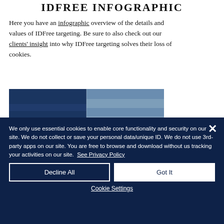IDFREE INFOGRAPHIC
Here you have an infographic overview of the details and values of IDFree targeting. Be sure to also check out our clients' insight into why IDFree targeting solves their loss of cookies.
[Figure (infographic): Blurred infographic image showing a dark navy and light blue grid/table layout representing IDFree targeting details]
We only use essential cookies to enable core functionality and security on our site. We do not collect or save your personal data/unique ID. We do not use 3rd-party apps on our site. You are free to browse and download without us tracking your activities on our site. See Privacy Policy
Decline All
Got It
Cookie Settings